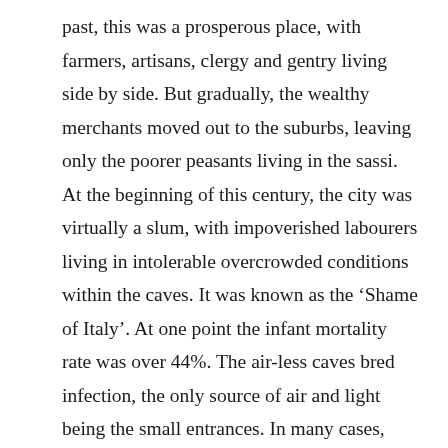past, this was a prosperous place, with farmers, artisans, clergy and gentry living side by side. But gradually, the wealthy merchants moved out to the suburbs, leaving only the poorer peasants living in the sassi. At the beginning of this century, the city was virtually a slum, with impoverished labourers living in intolerable overcrowded conditions within the caves. It was known as the ‘Shame of Italy’. At one point the infant mortality rate was over 44%. The air-less caves bred infection, the only source of air and light being the small entrances. In many cases, families lived side by side with their animals inside these tiny abodes. In the 1950s, action was finally taken, and all the inhabitants were moved out, and re-located up in the valley in purpose build accommodation. Old Matera became a ghost town.